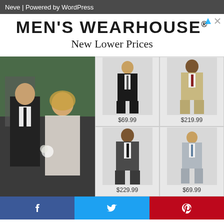Neve | Powered by WordPress
[Figure (infographic): Men's Wearhouse advertisement banner with brand name and tagline 'New Lower Prices', showing four suit product images with prices and a large wedding couple photo]
$69.99
$219.99
$229.99
$69.99
[Figure (other): Social sharing bar with Facebook, Twitter, and Pinterest buttons]